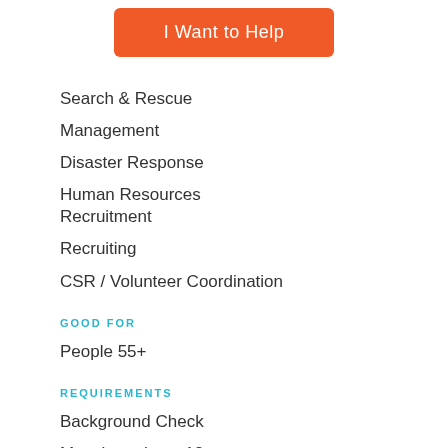I Want to Help
Search & Rescue
Management
Disaster Response
Human Resources Recruitment
Recruiting
CSR / Volunteer Coordination
GOOD FOR
People 55+
REQUIREMENTS
Background Check
Must be at least 18
Orientation or Training
Two or more days per month.
Senior members must present government issued